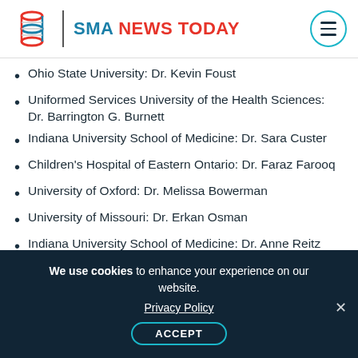[Figure (logo): SMA News Today logo with DNA helix icon, vertical divider, and hamburger menu icon in teal circle]
Ohio State University: Dr. Kevin Foust
Uniformed Services University of the Health Sciences: Dr. Barrington G. Burnett
Indiana University School of Medicine: Dr. Sara Custer
Children's Hospital of Eastern Ontario: Dr. Faraz Farooq
University of Oxford: Dr. Melissa Bowerman
University of Missouri: Dr. Erkan Osman
Indiana University School of Medicine: Dr. Anne Reitz
Columbia University: Dr. Eileen Workman
We use cookies to enhance your experience on our website. Privacy Policy ACCEPT